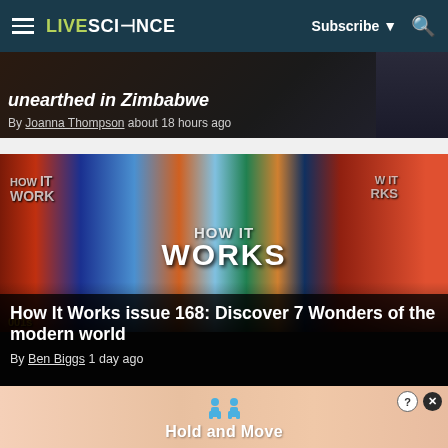LIVESCIENCE — Subscribe
unearthed in Zimbabwe
By Joanna Thompson about 18 hours ago
[Figure (photo): Multiple issues of 'How It Works' magazine fanned out showing colorful covers]
How It Works issue 168: Discover 7 Wonders of the modern world
By Ben Biggs 1 day ago
[Figure (photo): Advertisement banner showing 'Hold and Move' with blue figure icons on a light peach/beige background]